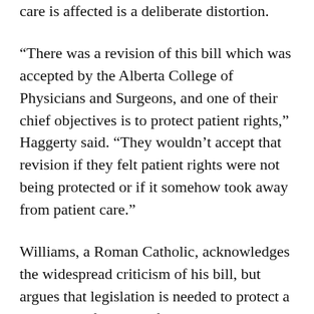care is affected is a deliberate distortion.
“There was a revision of this bill which was accepted by the Alberta College of Physicians and Surgeons, and one of their chief objectives is to protect patient rights,” Haggerty said. “They wouldn’t accept that revision if they felt patient rights were not being protected or if it somehow took away from patient care.”
Williams, a Roman Catholic, acknowledges the widespread criticism of his bill, but argues that legislation is needed to protect a physician's freedom of conscience under the Charter of Rights and